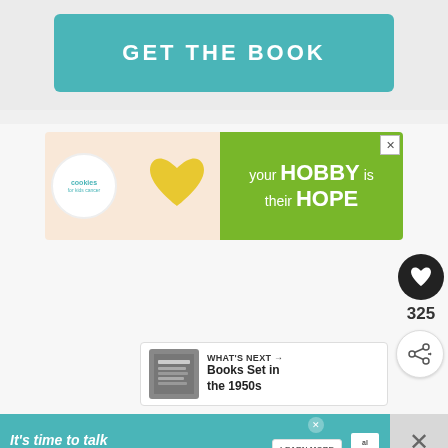[Figure (other): Teal/turquoise button with text GET THE BOOK in white bold uppercase letters]
[Figure (other): Advertisement banner for Cookies for Kids Cancer: left side shows hands holding a heart-shaped cookie, right side green background with text 'your HOBBY is their HOPE']
[Figure (other): Dark circular heart/like button icon]
325
[Figure (other): Share button icon (circle with share symbol)]
[Figure (other): WHAT'S NEXT thumbnail with text 'Books Set in the 1950s']
[Figure (other): Advertisement banner: It's time to talk about Alzheimer's. with LEARN MORE button and Alzheimer's Association logo]